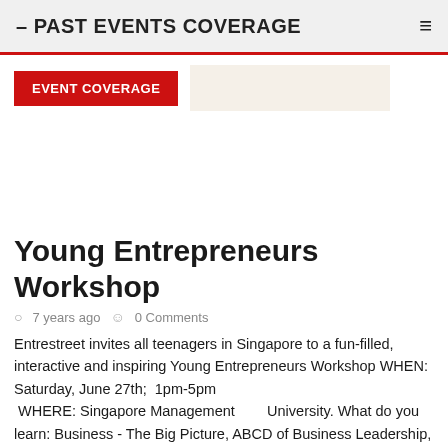– PAST EVENTS COVERAGE
EVENT COVERAGE
Young Entrepreneurs Workshop
7 years ago   0 Comments
Entrestreet invites all teenagers in Singapore to a fun-filled, interactive and inspiring Young Entrepreneurs Workshop WHEN: Saturday, June 27th;  1pm-5pm  WHERE: Singapore Management        University. What do you learn: Business - The Big Picture, ABCD of Business Leadership, Ideas that Work, Planning Your Business, ACT! By WHOM: The workshop will be led by: 1) Anisha (McKinsey consulting experience, graduate in Economics